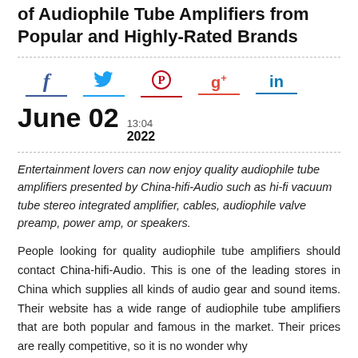China Hifi Audio Provides a Wide Selection of Audiophile Tube Amplifiers from Popular and Highly-Rated Brands
[Figure (infographic): Social sharing icons: Facebook (f), Twitter (bird), Pinterest (p), Google+ (g+), LinkedIn (in), each with a colored underline bar]
June 02  13:04  2022
Entertainment lovers can now enjoy quality audiophile tube amplifiers presented by China-hifi-Audio such as hi-fi vacuum tube stereo integrated amplifier, cables, audiophile valve preamp, power amp, or speakers.
People looking for quality audiophile tube amplifiers should contact China-hifi-Audio. This is one of the leading stores in China which supplies all kinds of audio gear and sound items. Their website has a wide range of audiophile tube amplifiers that are both popular and famous in the market. Their prices are really competitive, so it is no wonder why